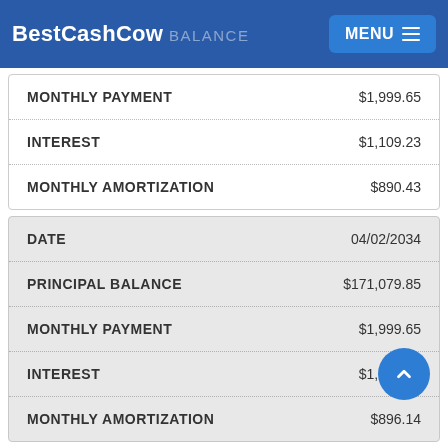BestCashCow BALANCE MENU
| MONTHLY PAYMENT | $1,999.65 |
| --- | --- |
| INTEREST | $1,109.23 |
| MONTHLY AMORTIZATION | $890.43 |
| DATE | 04/02/2034 |
| --- | --- |
| PRINCIPAL BALANCE | $171,079.85 |
| MONTHLY PAYMENT | $1,999.65 |
| INTEREST | $1,103.51 |
| MONTHLY AMORTIZATION | $896.14 |
| DATE | 05/02/2034 |
| --- | --- |